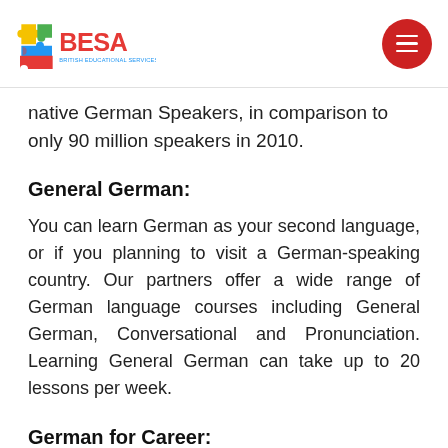[Figure (logo): BESA - British Educational Services Agency logo with colorful puzzle pieces]
native German Speakers, in comparison to only 90 million speakers in 2010.
General German:
You can learn German as your second language, or if you planning to visit a German-speaking country. Our partners offer a wide range of German language courses including General German, Conversational and Pronunciation. Learning General German can take up to 20 lessons per week.
German for Career: